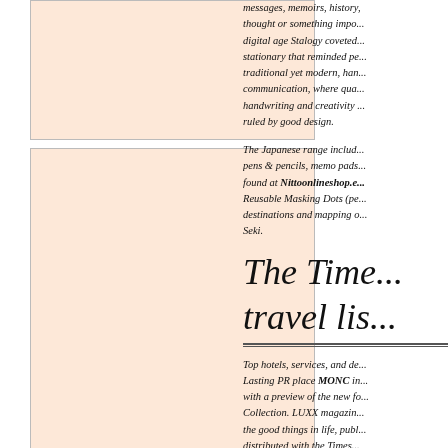[Figure (photo): First image placeholder with light peach/salmon background]
[Figure (photo): Second image placeholder with light peach/salmon background]
[Figure (photo): Third image placeholder with light peach/salmon background]
messages, memoirs, history, thought or something important. In a digital age Stalogy coveted quality stationary that reminded people of a traditional yet modern, handmade communication, where quality handwriting and creativity are ruled by good design.
The Japanese range includes notebooks, pens & pencils, memo pads and can be found at Nittoonlineshop.eu as can the Reusable Masking Dots (perfect for travel destinations and mapping out journeys) by Seki.
The Times travel list
Top hotels, services, and destinations. Lasting PR place MONC in the spotlight with a preview of the new frames from the Collection. LUXX magazine, all about the good things in life, published and distributed with the Times.